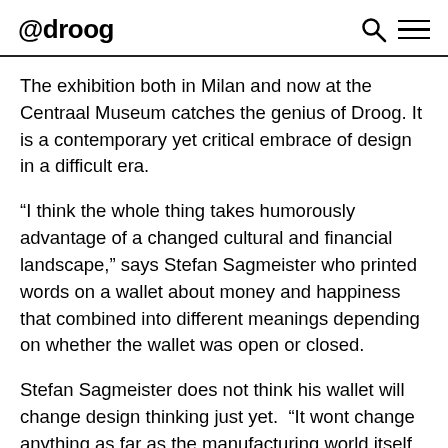@droog
The exhibition both in Milan and now at the Centraal Museum catches the genius of Droog. It is a contemporary yet critical embrace of design in a difficult era.
“I think the whole thing takes humorously advantage of a changed cultural and financial landscape,” says Stefan Sagmeister who printed words on a wallet about money and happiness that combined into different meanings depending on whether the wallet was open or closed.
Stefan Sagmeister does not think his wallet will change design thinking just yet. “It wont change anything as far as the manufacturing world itself